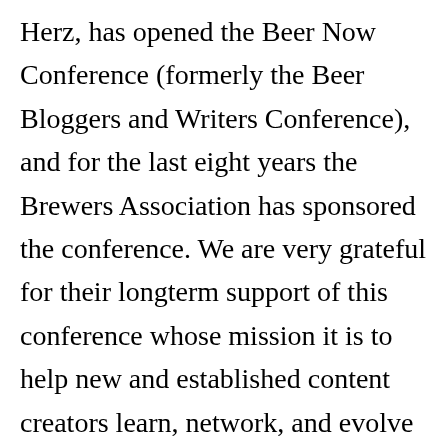Herz, has opened the Beer Now Conference (formerly the Beer Bloggers and Writers Conference), and for the last eight years the Brewers Association has sponsored the conference. We are very grateful for their longterm support of this conference whose mission it is to help new and established content creators learn, network, and evolve into the the independent professionals they want to be in the beer community.
That is why we say that the Brewers Association, in essence, supports independent bloggers and writers in the same way it promotes independent breweries. Yes, we're talking about the BA's